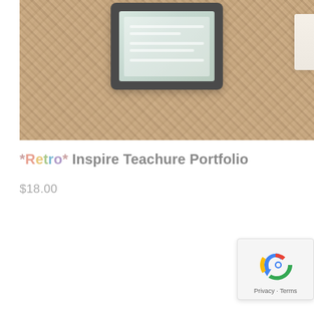[Figure (photo): Product photo showing a tablet device on a wicker/rattan surface with a white object visible at the right edge. The tablet screen shows a teal/green colored educational portfolio design.]
*Retro* Inspire Teachure Portfolio
$18.00
[Figure (other): Google reCAPTCHA widget showing a circular arrow icon in blue, with Privacy and Terms links at the bottom.]